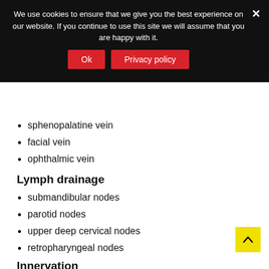We use cookies to ensure that we give you the best experience on our website. If you continue to use this site we will assume that you are happy with it.
sphenopalatine vein
facial vein
ophthalmic vein
Lymph drainage
submandibular nodes
parotid nodes
upper deep cervical nodes
retropharyngeal nodes
Innervation